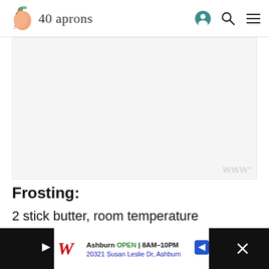40 aprons
[Figure (other): Gray advertisement placeholder area with 'www' watermark in bottom right corner]
Frosting:
2 stick butter, room temperature
1 package cream cheese, room temperature
1 1/6 tsp. vanilla extract
4 cups powdered sugar (To be totally honest, I just start with about two cups and keep adding
Ashburn OPEN | 8AM–10PM  20321 Susan Leslie Dr, Ashburn